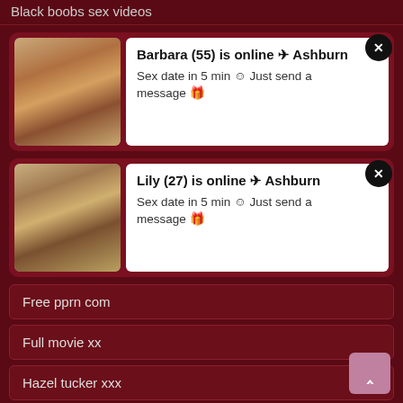Black boobs sex videos
[Figure (photo): Notification card with photo of blonde woman, text: Barbara (55) is online in Ashburn. Sex date in 5 min. Just send a message.]
[Figure (photo): Notification card with photo of young woman, text: Lily (27) is online in Ashburn. Sex date in 5 min. Just send a message.]
Free pprn com
Full movie xx
Hazel tucker xxx
Hot pretty feet missinary anal